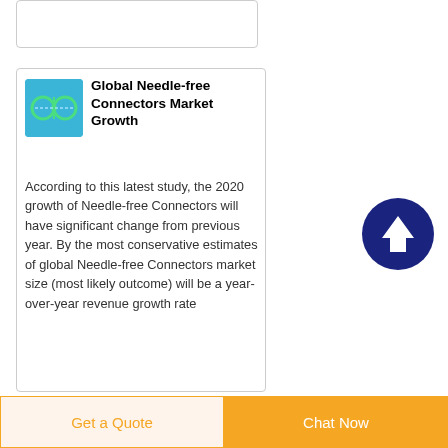[Figure (other): Top card placeholder box with border]
[Figure (photo): Thumbnail image of needle-free connectors on blue background]
Global Needle-free Connectors Market Growth
According to this latest study, the 2020 growth of Needle-free Connectors will have significant change from previous year. By the most conservative estimates of global Needle-free Connectors market size (most likely outcome) will be a year-over-year revenue growth rate
[Figure (other): Scroll-to-top circular button with upward arrow, dark navy blue]
Get a Quote
Chat Now